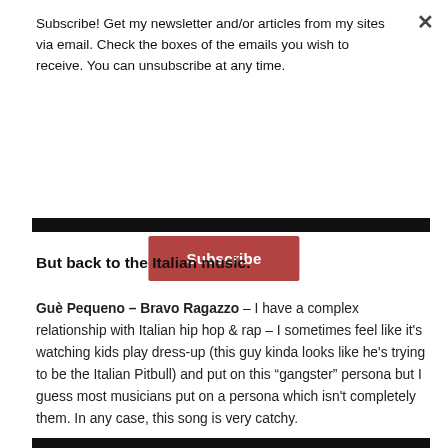Subscribe! Get my newsletter and/or articles from my sites via email. Check the boxes of the emails you wish to receive. You can unsubscribe at any time.
Subscribe
But back to the Italian music.
Guè Pequeno – Bravo Ragazzo – I have a complex relationship with Italian hip hop & rap – I sometimes feel like it's watching kids play dress-up (this guy kinda looks like he's trying to be the Italian Pitbull) and put on this "gangster" persona but I guess most musicians put on a persona which isn't completely them. In any case, this song is very catchy.